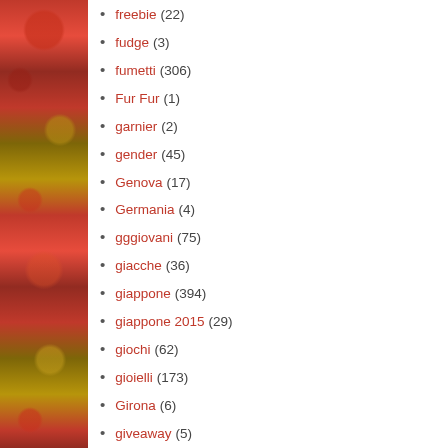freebie (22)
fudge (3)
fumetti (306)
Fur Fur (1)
garnier (2)
gender (45)
Genova (17)
Germania (4)
gggiovani (75)
giacche (36)
giappone (394)
giappone 2015 (29)
giochi (62)
gioielli (173)
Girona (6)
giveaway (5)
GLB (5)
Goldilocks and the Three Bears (6)
gonna (79)
goth (137)
Granada (3)